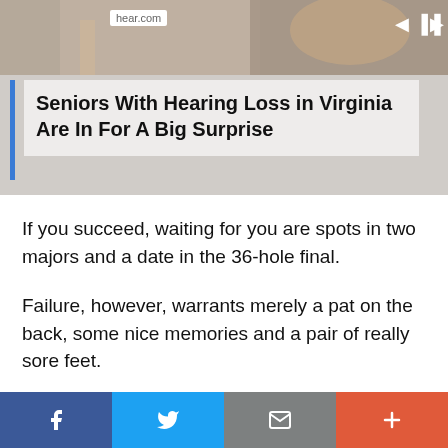[Figure (screenshot): Advertisement banner from hear.com showing a photo of an elderly person and the headline about seniors with hearing loss]
Seniors With Hearing Loss in Virginia Are In For A Big Surprise
If you succeed, waiting for you are spots in two majors and a date in the 36-hole final.
Failure, however, warrants merely a pat on the back, some nice memories and a pair of really sore feet.
“You know everything that rides on that match,” said Andy Ogletree, who lifted the Havemeyer Trophy in 2019 at Pinehurst. “I felt like I put a lot
Facebook | Twitter | Email | More